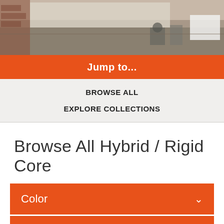[Figure (photo): Office interior with chairs, desks, and large windows, flooring visible]
Jump to...
BROWSE ALL
EXPLORE COLLECTIONS
Browse All Hybrid / Rigid Core
Color
Thickness/Gauge
Size